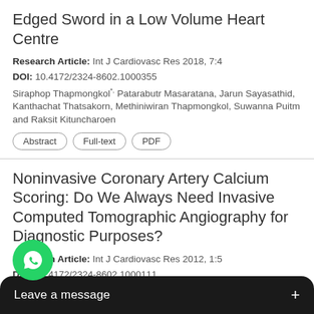Edged Sword in a Low Volume Heart Centre
Research Article: Int J Cardiovasc Res 2018, 7:4
DOI: 10.4172/2324-8602.1000355
Siraphop Thapmongkol*, Patarabutr Masaratana, Jarun Sayasathid, Kanthachat Thatsakorn, Methiniwiran Thapmongkol, Suwanna Puitm and Raksit Kituncharoen
Noninvasive Coronary Artery Calcium Scoring: Do We Always Need Invasive Computed Tomographic Angiography for Diagnostic Purposes?
Research Article: Int J Cardiovasc Res 2012, 1:5
DOI: 10.4172/2324-8602.1000111
Mojgan Sametzadeh, Habib Haybar, Mehran Saiahy, Ahmad Ahmadzadeh, Mohammad Davoodi, Atefeh fi,Ahmadreza Assareh and Seyed Mohammad Hasan
[Figure (other): WhatsApp chat widget with green phone icon and 'Leave a message +' dark bar overlay at bottom of page]